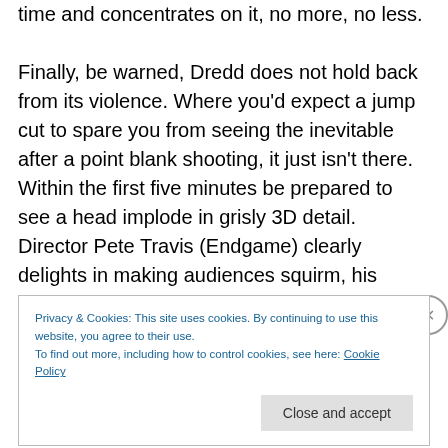time and concentrates on it, no more, no less.

Finally, be warned, Dredd does not hold back from its violence. Where you'd expect a jump cut to spare you from seeing the inevitable after a point blank shooting, it just isn't there. Within the first five minutes be prepared to see a head implode in grisly 3D detail. Director Pete Travis (Endgame) clearly delights in making audiences squirm, his approach will either be exhilarating or nauseating depending on your constitution.
Privacy & Cookies: This site uses cookies. By continuing to use this website, you agree to their use.
To find out more, including how to control cookies, see here: Cookie Policy